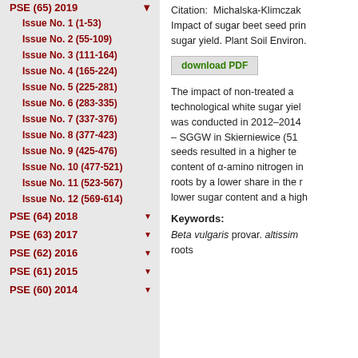PSE (65) 2019
Issue No. 1 (1-53)
Issue No. 2 (55-109)
Issue No. 3 (111-164)
Issue No. 4 (165-224)
Issue No. 5 (225-281)
Issue No. 6 (283-335)
Issue No. 7 (337-376)
Issue No. 8 (377-423)
Issue No. 9 (425-476)
Issue No. 10 (477-521)
Issue No. 11 (523-567)
Issue No. 12 (569-614)
PSE (64) 2018
PSE (63) 2017
PSE (62) 2016
PSE (61) 2015
PSE (60) 2014
Citation: Michalska-Klimczak Impact of sugar beet seed pri sugar yield. Plant Soil Environ.
download PDF
The impact of non-treated a technological white sugar yiel was conducted in 2012–2014 – SGGW in Skierniewice (51 seeds resulted in a higher te content of α-amino nitrogen in roots by a lower share in the r lower sugar content and a hig
Keywords:
Beta vulgaris provar. altissim roots